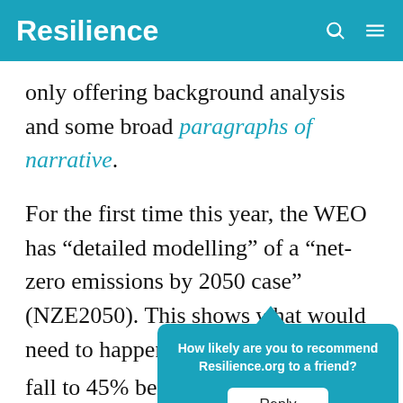Resilience
only offering background analysis and some broad paragraphs of narrative.
For the first time this year, the WEO has “detailed modelling” of a “net-zero emissions by 2050 case” (NZE2050). This shows what would need to happen for CO2 emissions to fall to 45% below 2010 levels by 2030, and to net-zero by 2050, with a 1.5°C limit.
[Figure (other): Popup overlay asking 'How likely are you to recommend Resilience.org to a friend?' with a Reply button]